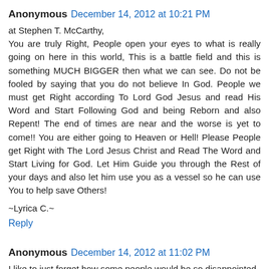Anonymous  December 14, 2012 at 10:21 PM
at Stephen T. McCarthy,
You are truly Right, People open your eyes to what is really going on here in this world, This is a battle field and this is something MUCH BIGGER then what we can see. Do not be fooled by saying that you do not believe In God. People we must get Right according To Lord God Jesus and read His Word and Start Following God and being Reborn and also Repent! The end of times are near and the worse is yet to come!! You are either going to Heaven or Hell! Please People get Right with The Lord Jesus Christ and Read The Word and Start Living for God. Let Him Guide you through the Rest of your days and also let him use you as a vessel so he can use You to help save Others!
~Lyrica C.~
Reply
Anonymous  December 14, 2012 at 11:02 PM
I like to just forget how some people would be so disappointed that...